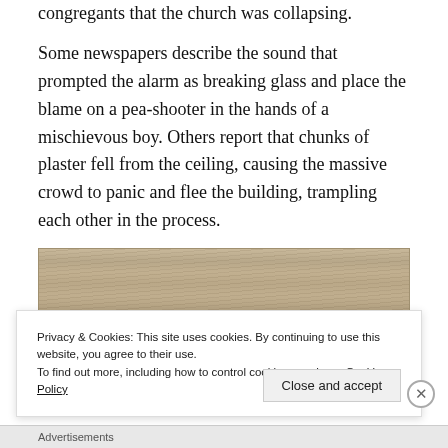congregants that the church was collapsing. Some newspapers describe the sound that prompted the alarm as breaking glass and place the blame on a pea-shooter in the hands of a mischievous boy. Others report that chunks of plaster fell from the ceiling, causing the massive crowd to panic and flee the building, trampling each other in the process.
[Figure (photo): A close-up photograph of a piece of aged wood or wooden plank with visible wood grain texture, brownish-tan in color.]
Privacy & Cookies: This site uses cookies. By continuing to use this website, you agree to their use. To find out more, including how to control cookies, see here: Cookie Policy
Close and accept
Advertisements